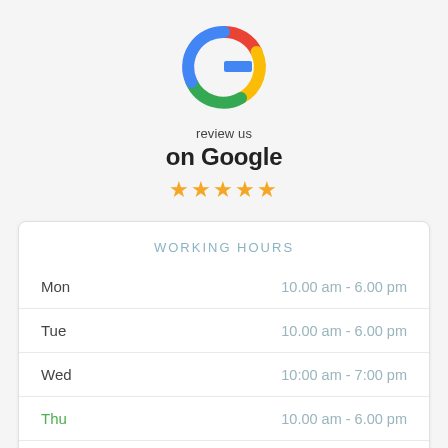[Figure (logo): Google 'G' logo in multicolor (red, yellow, green, blue)]
review us
on Google
★★★★★
WORKING HOURS
| Day | Hours |
| --- | --- |
| Mon | 10.00 am - 6.00 pm |
| Tue | 10.00 am - 6.00 pm |
| Wed | 10:00 am - 7:00 pm |
| Thu | 10.00 am - 6.00 pm |
| Fri | 10.00 am - 6.00 pm |